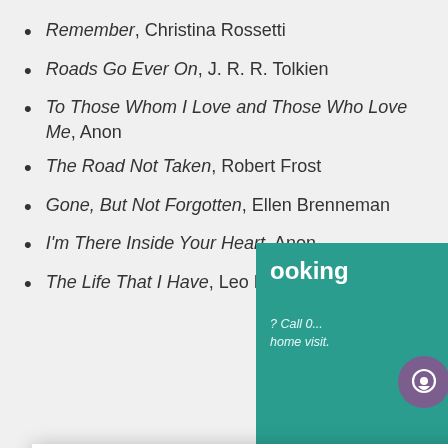Remember, Christina Rossetti
Roads Go Ever On, J. R. R. Tolkien
To Those Whom I Love and Those Who Love Me, Anon
The Road Not Taken, Robert Frost
Gone, But Not Forgotten, Ellen Brenneman
I'm There Inside Your Heart, Anon
The Life That I Have, Leo Marks
y Dickinson
[Figure (screenshot): Cookie consent popup overlay with text: We use cookies on our website to give you the most relevant experience by remembering your preferences and repeat visits. By clicking "Accept All", you consent to the use of ALL the cookies. However, you may visit "Cookie Settings" to provide a controlled consent. With two buttons: Cookie Settings and Accept All.]
[Figure (other): Teal/green box partially visible in bottom right with text 'ooking' and italic text 'Call 0...' and 'home visit.' and a purple chat bubble icon.]